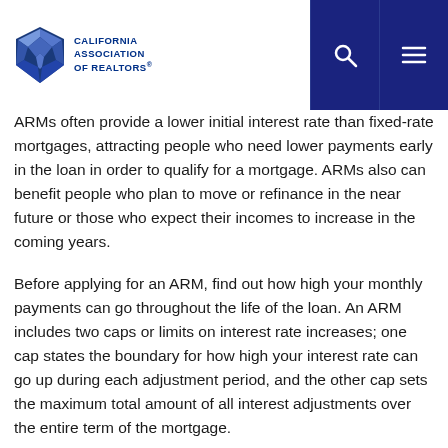California Association of Realtors
ARMs often provide a lower initial interest rate than fixed-rate mortgages, attracting people who need lower payments early in the loan in order to qualify for a mortgage. ARMs also can benefit people who plan to move or refinance in the near future or those who expect their incomes to increase in the coming years.
Before applying for an ARM, find out how high your monthly payments can go throughout the life of the loan. An ARM includes two caps or limits on interest rate increases; one cap states the boundary for how high your interest rate can go up during each adjustment period, and the other cap sets the maximum total amount of all interest adjustments over the entire term of the mortgage.
The rates of an ARM typically change once or twice a year, and there is usually a lifetime cap on both the individual rate adjustments and the total amount the rate